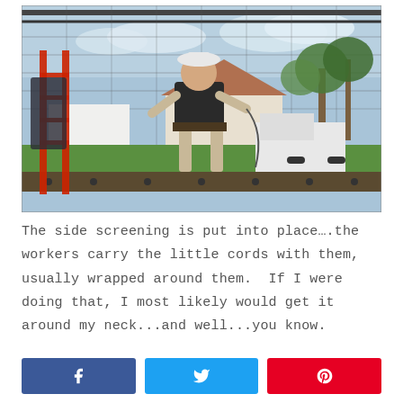[Figure (photo): A worker standing on top of a screen enclosure frame, installing side screening. The worker is wearing a black shirt, khaki pants, and a tool belt. A red ladder is visible on the left. A white truck is parked in the background, with palm trees and a house visible. The view is looking through the screen enclosure frame from inside.]
The side screening is put into place….the workers carry the little cords with them, usually wrapped around them.  If I were doing that, I most likely would get it around my neck...and well...you know.